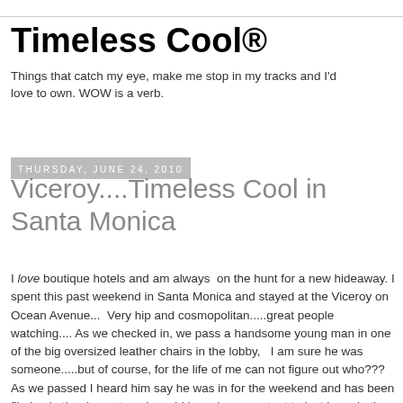Timeless Cool®
Things that catch my eye, make me stop in my tracks and I'd love to own. WOW is a verb.
Thursday, June 24, 2010
Viceroy....Timeless Cool in Santa Monica
I love boutique hotels and am always on the hunt for a new hideaway. I spent this past weekend in Santa Monica and stayed at the Viceroy on Ocean Avenue... Very hip and cosmopolitan.....great people watching.... As we checked in, we pass a handsome young man in one of the big oversized leather chairs in the lobby, I am sure he was someone.....but of course, for the life of me can not figure out who??? As we passed I heard him say he was in for the weekend and has been filming in the dessert...... I would have been content to just hang in the lobby for a few days